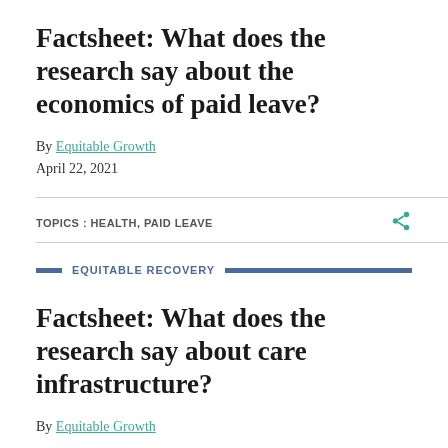Factsheet: What does the research say about the economics of paid leave?
By Equitable Growth
April 22, 2021
TOPICS: HEALTH, PAID LEAVE
EQUITABLE RECOVERY
Factsheet: What does the research say about care infrastructure?
By Equitable Growth